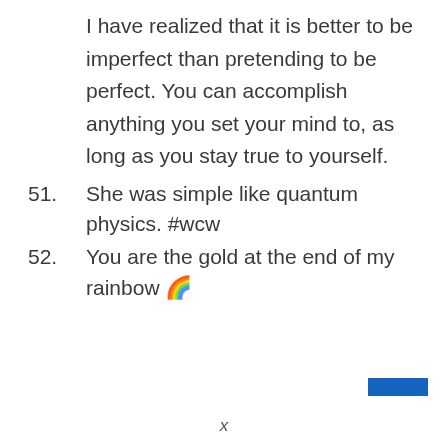I have realized that it is better to be imperfect than pretending to be perfect. You can accomplish anything you set your mind to, as long as you stay true to yourself.
51. She was simple like quantum physics. #wcw
52. You are the gold at the end of my rainbow 🌈